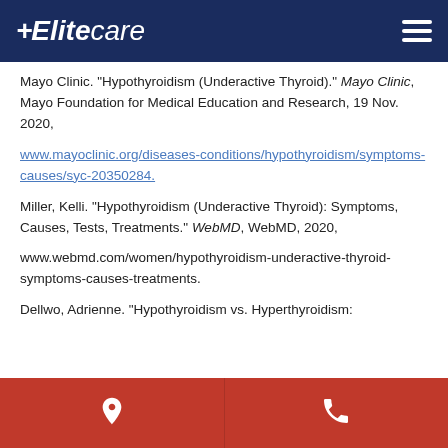Elitecare
Mayo Clinic. "Hypothyroidism (Underactive Thyroid)." Mayo Clinic, Mayo Foundation for Medical Education and Research, 19 Nov. 2020,
www.mayoclinic.org/diseases-conditions/hypothyroidism/symptoms-causes/syc-20350284.
Miller, Kelli. "Hypothyroidism (Underactive Thyroid): Symptoms, Causes, Tests, Treatments." WebMD, WebMD, 2020,
www.webmd.com/women/hypothyroidism-underactive-thyroid-symptoms-causes-treatments.
Dellwo, Adrienne. "Hypothyroidism vs. Hyperthyroidism:
Location | Phone